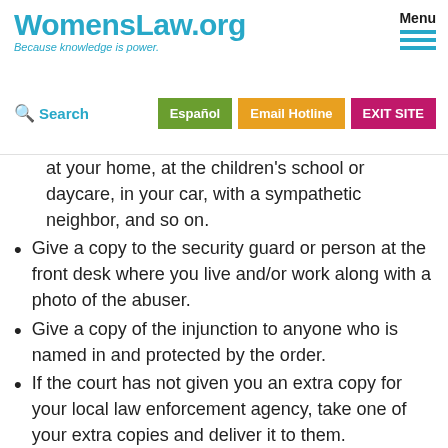WomensLaw.org — Because knowledge is power. Menu | Search | Español | Email Hotline | EXIT SITE
at your home, at the children's school or daycare, in your car, with a sympathetic neighbor, and so on.
Give a copy to the security guard or person at the front desk where you live and/or work along with a photo of the abuser.
Give a copy of the injunction to anyone who is named in and protected by the order.
If the court has not given you an extra copy for your local law enforcement agency, take one of your extra copies and deliver it to them.
You may wish to consider changing your locks and your phone number if permitted by law.
Be aware of your safety while leaving the